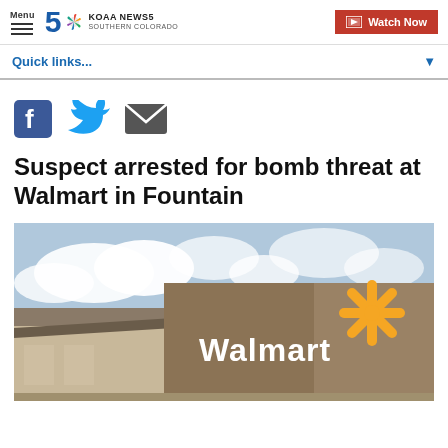Menu | KOAA NEWS5 SOUTHERN COLORADO | Watch Now
Quick links...
[Figure (screenshot): Social sharing icons: Facebook, Twitter, Email]
Suspect arrested for bomb threat at Walmart in Fountain
[Figure (photo): Exterior photo of a Walmart store building with the Walmart logo and spark symbol against a cloudy sky]